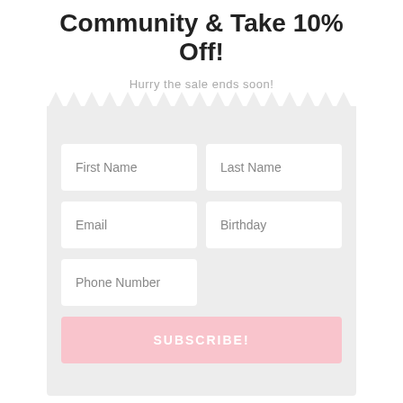Community & Take 10% Off!
Hurry the sale ends soon!
[Figure (infographic): A signup form with zigzag torn-ticket top edge on a light gray background, containing fields for First Name, Last Name, Email, Birthday, Phone Number, and a pink SUBSCRIBE! button.]